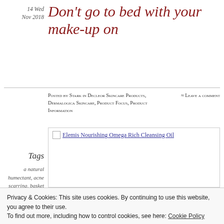14 Wed Nov 2018
Don't go to bed with your make-up on
Posted by Stark in Decleor Skincare Products, Dermalogica Skincare, Product Focus, Product Information
≈ Leave a comment
[Figure (photo): Broken image placeholder for Elemis Nourishing Omega Rich Cleansing Oil with link text]
Tags
a natural humectant, acne scarring, basket
Privacy & Cookies: This site uses cookies. By continuing to use this website, you agree to their use.
To find out more, including how to control cookies, see here: Cookie Policy
Close and accept
clean-rinsing